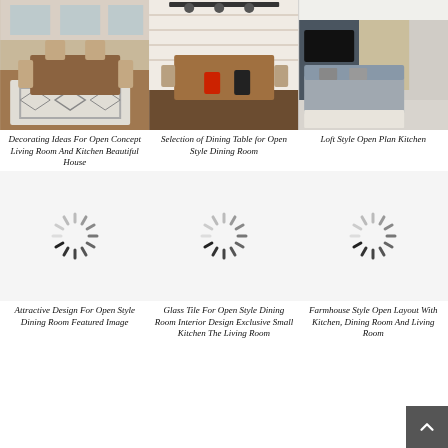[Figure (photo): Open concept living room and kitchen with dining table and patterned rug]
Decorating Ideas For Open Concept Living Room And Kitchen Beautiful House
[Figure (photo): Dining table in open style dining room with red chair and track lighting]
Selection of Dining Table for Open Style Dining Room
[Figure (photo): Loft style open plan kitchen with grey sofa and wood accents]
Loft Style Open Plan Kitchen
[Figure (photo): Loading spinner placeholder for Attractive Design For Open Style Dining Room]
Attractive Design For Open Style Dining Room Featured Image
[Figure (photo): Loading spinner placeholder for Glass Tile For Open Style Dining Room]
Glass Tile For Open Style Dining Room Interior Design Exclusive Small Kitchen The Living Room
[Figure (photo): Loading spinner placeholder for Farmhouse Style Open Layout]
Farmhouse Style Open Layout With Kitchen, Dining Room And Living Room